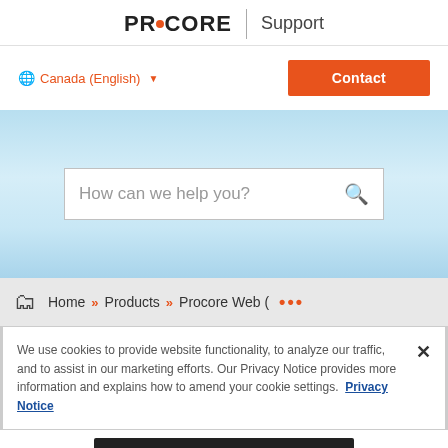PROCORE | Support
Canada (English) ▼
Contact
[Figure (screenshot): Search bar with placeholder text 'How can we help you?' and a search icon, on a light blue gradient background]
Home » Products » Procore Web (app.p …
We use cookies to provide website functionality, to analyze our traffic, and to assist in our marketing efforts. Our Privacy Notice provides more information and explains how to amend your cookie settings. Privacy Notice